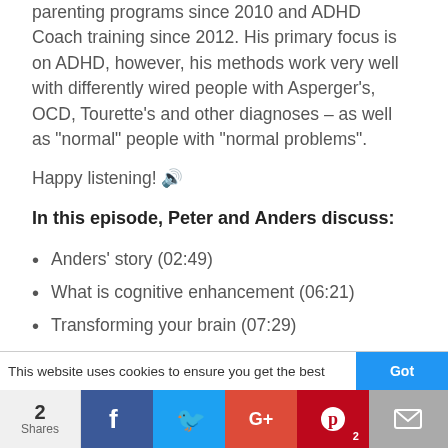parenting programs since 2010 and ADHD Coach training since 2012. His primary focus is on ADHD, however, his methods work very well with differently wired people with Asperger's, OCD, Tourette's and other diagnoses – as well as "normal" people with "normal problems".
Happy listening! 🎧
In this episode, Peter and Anders discuss:
Anders' story (02:49)
What is cognitive enhancement (06:21)
Transforming your brain (07:29)
Mind vs brain (10:15)
This website uses cookies to ensure you get the best